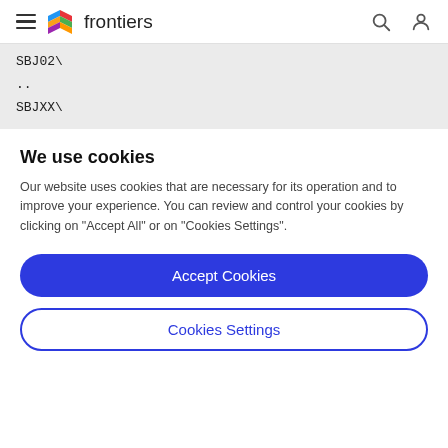frontiers
SBJ02\
..
SBJXX\
We use cookies
Our website uses cookies that are necessary for its operation and to improve your experience. You can review and control your cookies by clicking on "Accept All" or on "Cookies Settings".
Accept Cookies
Cookies Settings